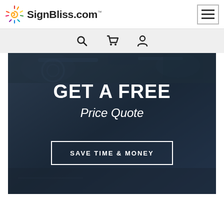[Figure (logo): SignBliss.com logo with colorful sun/spiral icon on the left and bold text 'SignBliss.com' with TM superscript]
[Figure (other): Hamburger menu icon (three horizontal lines) inside a bordered square box in the top right]
[Figure (other): Icon toolbar with search (magnifying glass), cart, and user/profile icons centered on a light gray background]
[Figure (other): Hero banner with dark blue machinery background overlay. Large bold white text 'GET A FREE', italic white text 'Price Quote', and a white-bordered button reading 'SAVE TIME & MONEY']